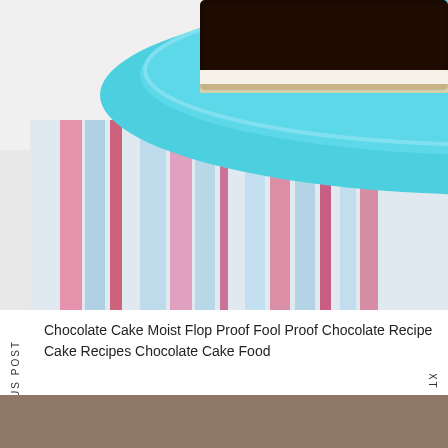[Figure (photo): Close-up photo of a slice of dark chocolate cake on a teal/blue plate, with a striped pink and blue cloth napkin underneath, white background]
Chocolate Cake Moist Flop Proof Fool Proof Chocolate Recipe Cake Recipes Chocolate Cake Food
PREVIOUS POST
NEXT POST
[Figure (photo): Close-up macro photo of a chocolate dessert or brownie with chocolate frosting/ganache on a rustic wooden surface, blurred background]